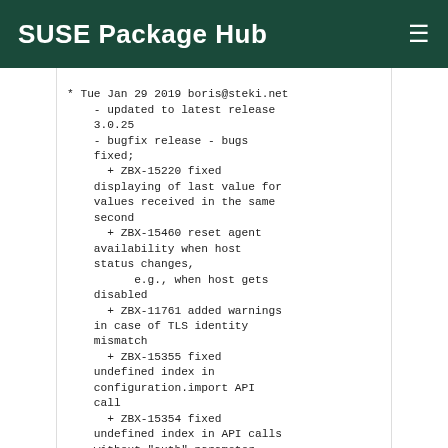SUSE Package Hub
* Tue Jan 29 2019 boris@steki.net
    - updated to latest release 3.0.25
    - bugfix release - bugs fixed;
      + ZBX-15220 fixed displaying of last value for values received in the same second
      + ZBX-15460 reset agent availability when host status changes,
          e.g., when host gets disabled
      + ZBX-11761 added warnings in case of TLS identity mismatch
      + ZBX-15355 fixed undefined index in configuration.import API call
      + ZBX-15354 fixed undefined index in API calls without "auth" parameter
      + ZBX-14331 fixed error allowing users to change type of
          a host interface that already has items attached
      + ZBX-15313 fixed unit suffix support in calculated item expressions
      + ZBX-14593 fixed